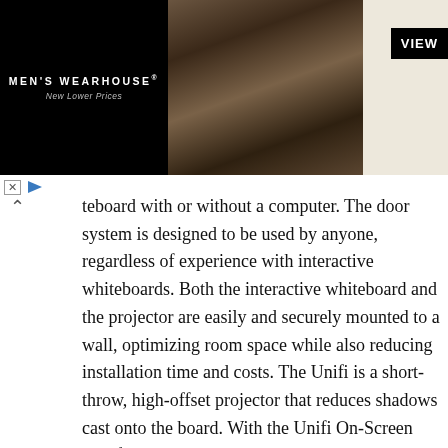[Figure (photo): Men's Wearhouse advertisement banner showing a couple in formal wear and a man in a tan suit, with 'VIEW' button. Black background on left with brand name, center shows couple photo, right panel shows man in suit.]
teboard with or without a computer. The door system is designed to be used by anyone, regardless of experience with interactive whiteboards. Both the interactive whiteboard and the projector are easily and securely mounted to a wall, optimizing room space while also reducing installation time and costs. The Unifi is a short-throw, high-offset projector that reduces shadows cast onto the board. With the Unifi On-Screen Interface, users can select input sources, such as a computer, VCR, document camera or DVD player. From this interface, they can adjust projector settings, choose the digital ink for writing over any video source and capture their work to ScratchPad. Users can then save their work to a USB storage device, such as a USB key, PDA, iPod or digital camera, as a Notebook, PDF or JPEG